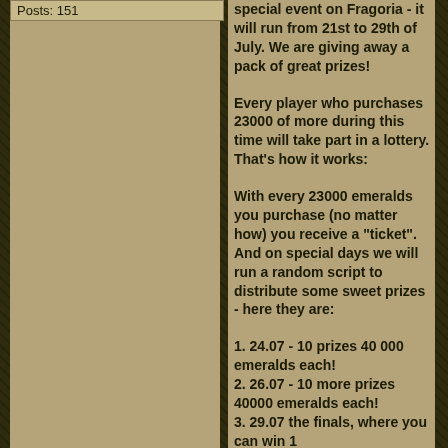Posts: 151
special event on Fragoria - it will run from 21st to 29th of July. We are giving away a pack of great prizes!
Every player who purchases 23000 of more during this time will take part in a lottery. That's how it works:
With every 23000 emeralds you purchase (no matter how) you receive a "ticket". And on special days we will run a random script to distribute some sweet prizes - here they are:
1. 24.07 - 10 prizes 40 000 emeralds each!
2. 26.07 - 10 more prizes 40000 emeralds each!
3. 29.07 the finals, where you can win 1